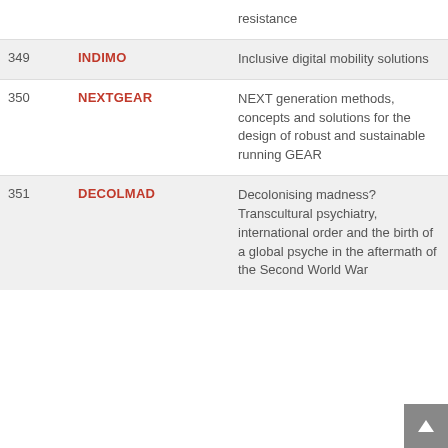| # | Acronym | Description |
| --- | --- | --- |
|  |  | resistance |
| 349 | INDIMO | Inclusive digital mobility solutions |
| 350 | NEXTGEAR | NEXT generation methods, concepts and solutions for the design of robust and sustainable running GEAR |
| 351 | DECOLMAD | Decolonising madness? Transcultural psychiatry, international order and the birth of a global psyche in the aftermath of the Second World War |